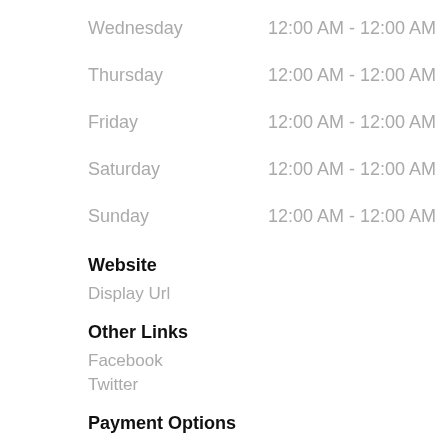Wednesday   12:00 AM - 12:00 AM
Thursday   12:00 AM - 12:00 AM
Friday   12:00 AM - 12:00 AM
Saturday   12:00 AM - 12:00 AM
Sunday   12:00 AM - 12:00 AM
Website
Display Url
Other Links
Facebook
Twitter
Payment Options